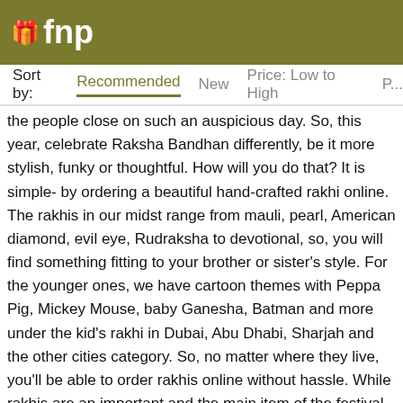fnp
Sort by: Recommended New Price: Low to High P...
the people close on such an auspicious day. So, this year, celebrate Raksha Bandhan differently, be it more stylish, funky or thoughtful. How will you do that? It is simple- by ordering a beautiful hand-crafted rakhi online. The rakhis in our midst range from mauli, pearl, American diamond, evil eye, Rudraksha to devotional, so, you will find something fitting to your brother or sister's style. For the younger ones, we have cartoon themes with Peppa Pig, Mickey Mouse, baby Ganesha, Batman and more under the kid's rakhi in Dubai, Abu Dhabi, Sharjah and the other cities category. So, no matter where they live, you'll be able to order rakhis online without hassle. While rakhis are an important and the main item of the festival, gifts have to take precedence too. Thus, we bring you a selection of gift items that gel brilliantly with your delicate thread, be it rakhi with chocolates, cake, traditional sweets or flowers; they will leave your sibling impressed. Isn't it perfect?